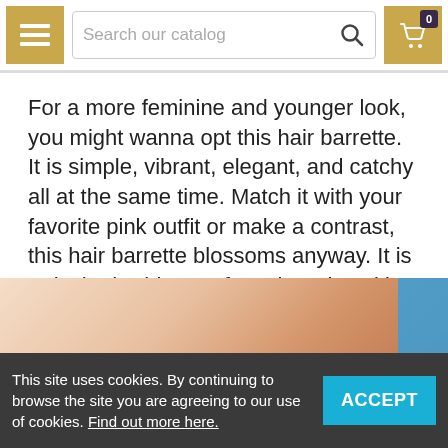Search our catalog [navigation bar with menu and cart]
For a more feminine and younger look, you might wanna opt this hair barrette. It is simple, vibrant, elegant, and catchy all at the same time. Match it with your favorite pink outfit or make a contrast, this hair barrette blossoms anyway. It is truly the harbinger of youth and working women must give it a shot.
[Figure (photo): Partial view of a hair barrette product, pinkish-orange tones visible at bottom of page]
This site uses cookies. By continuing to browse the site you are agreeing to our use of cookies. Find out more here. [ACCEPT button]